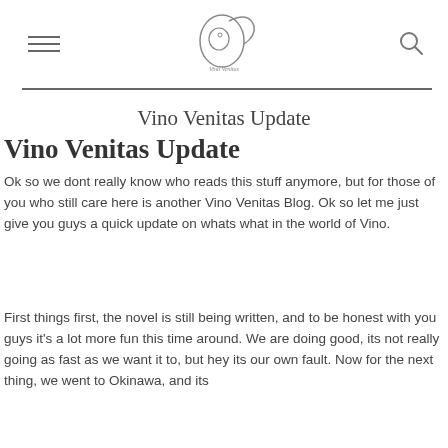Vino Venitas logo header with hamburger menu and search icon
Vino Venitas Update
Vino Venitas Update
Ok so we dont really know who reads this stuff anymore, but for those of you who still care here is another Vino Venitas Blog. Ok so let me just give you guys a quick update on whats what in the world of Vino.
First things first, the novel is still being written, and to be honest with you guys it's a lot more fun this time around. We are doing good, its not really going as fast as we want it to, but hey its our own fault. Now for the next thing, we went to Okinawa, and its